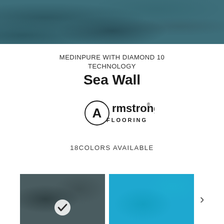[Figure (photo): Close-up texture photo of teal/blue-grey flooring material (Sea Wall color)]
MEDINPURE WITH DIAMOND 10 TECHNOLOGY
Sea Wall
[Figure (logo): Armstrong Flooring logo — circular A mark with 'Armstrong' wordmark and 'FLOORING' below]
18COLORS AVAILABLE
[Figure (photo): Two color swatches shown side by side: left is a dark teal/grey swatch with a white checkmark circle (currently selected), right is a bright blue swatch. A right-arrow chevron appears to the right for navigation.]